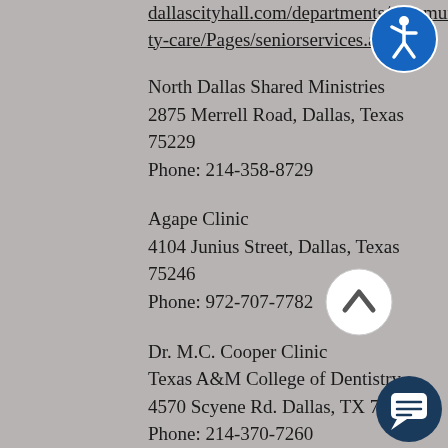Website:
dallascityhall.com/departments/community-care/Pages/seniorservices.aspx
North Dallas Shared Ministries
2875 Merrell Road, Dallas, Texas 75229
Phone: 214-358-8729
Agape Clinic
4104 Junius Street, Dallas, Texas 75246
Phone: 972-707-7782
Dr. M.C. Cooper Clinic
Texas A&M College of Dentistry
4570 Scyene Rd. Dallas, TX 75210
Phone: 214-370-7260
Dental health is a critical part of the overall health of an individual at any age, and dental problems can seriously lower quality of life or even shorten an individual's lifespan. That is why it is so important that seniors be able to access
[Figure (illustration): Accessibility icon - blue circle with white wheelchair symbol]
[Figure (illustration): Up arrow button - white circle with upward chevron]
[Figure (illustration): Chat button - dark navy circle with white chat bubble icon]